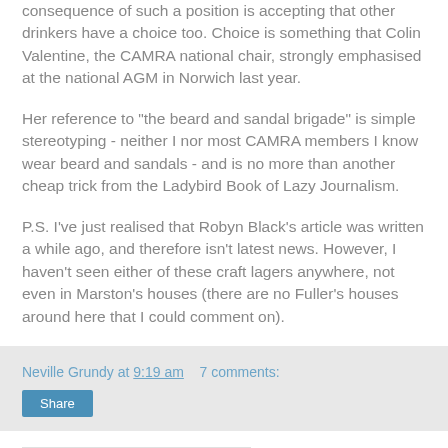consequence of such a position is accepting that other drinkers have a choice too. Choice is something that Colin Valentine, the CAMRA national chair, strongly emphasised at the national AGM in Norwich last year.
Her reference to "the beard and sandal brigade" is simple stereotyping - neither I nor most CAMRA members I know wear beard and sandals - and is no more than another cheap trick from the Ladybird Book of Lazy Journalism.
P.S. I've just realised that Robyn Black's article was written a while ago, and therefore isn't latest news. However, I haven't seen either of these craft lagers anywhere, not even in Marston's houses (there are no Fuller's houses around here that I could comment on).
Neville Grundy at 9:19 am   7 comments:
Share
Sunday, 10 August 2014
Best laid plans ...